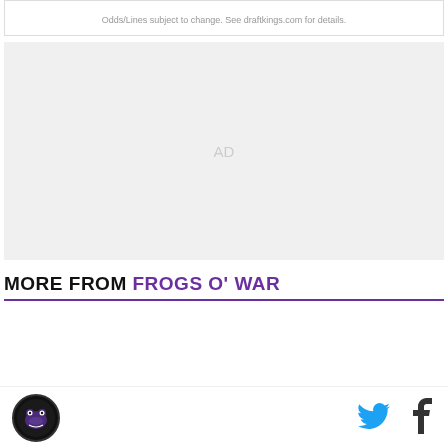Odds/Lines subject to change. See draftkings.com for details.
[Figure (other): Advertisement placeholder block with 'AD' text centered]
MORE FROM FROGS O' WAR
[Figure (logo): Frogs O' War circular logo in bottom left with frog mascot]
[Figure (other): Twitter bird icon in cyan/blue color]
[Figure (other): Facebook 'f' icon in dark color]